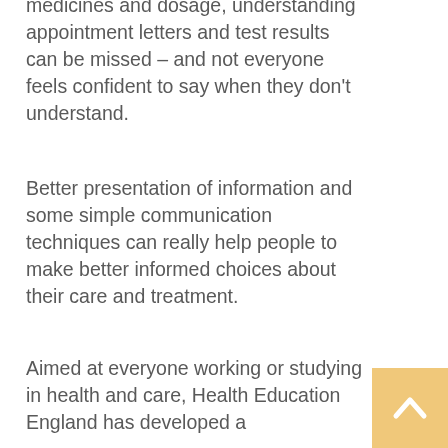medicines and dosage, understanding appointment letters and test results can be missed – and not everyone feels confident to say when they don't understand.
Better presentation of information and some simple communication techniques can really help people to make better informed choices about their care and treatment.
Aimed at everyone working or studying in health and care, Health Education England has developed a